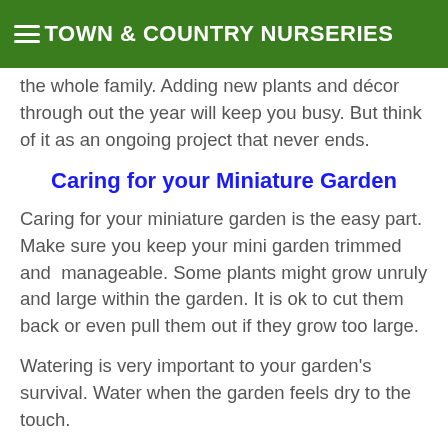TOWN & COUNTRY NURSERIES
the whole family. Adding new plants and décor through out the year will keep you busy. But think of it as an ongoing project that never ends.
Caring for your Miniature Garden
Caring for your miniature garden is the easy part. Make sure you keep your mini garden trimmed and manageable. Some plants might grow unruly and large within the garden. It is ok to cut them back or even pull them out if they grow too large.
Watering is very important to your garden's survival. Water when the garden feels dry to the touch.
It is important that you do not fertilize your mini garden. You do not want to encourage too much growth. If you feel that